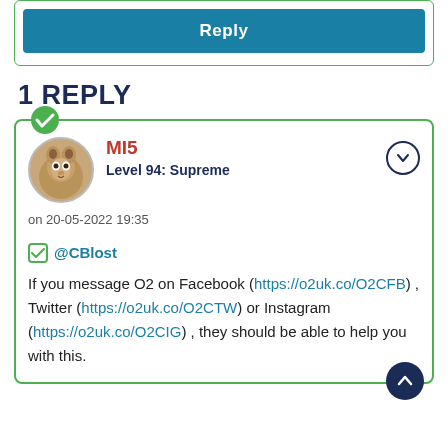[Figure (other): Reply button area with teal/blue background button labeled Reply inside a green-bordered card]
1 REPLY
[Figure (other): Forum reply card with green border, accepted answer green checkmark badge, meerkat avatar, username MI5 in red, Level 94: Supreme, posted on 20-05-2022 19:35, checkmark icon with @CBlost mention, post body text about messaging O2 on Facebook, Twitter, or Instagram with links]
on 20-05-2022 19:35
@CBlost
If you message O2 on Facebook (https://o2uk.co/O2CFB) , Twitter (https://o2uk.co/O2CTW) or Instagram (https://o2uk.co/O2CIG) , they should be able to help you with this.